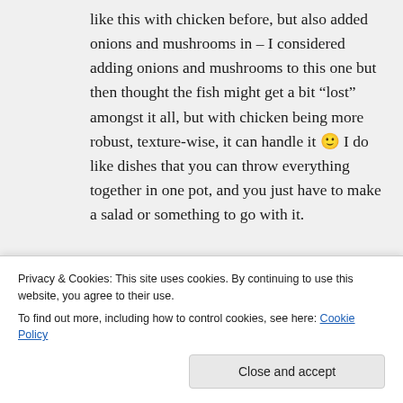like this with chicken before, but also added onions and mushrooms in – I considered adding onions and mushrooms to this one but then thought the fish might get a bit “lost” amongst it all, but with chicken being more robust, texture-wise, it can handle it 🙂 I do like dishes that you can throw everything together in one pot, and you just have to make a salad or something to go with it.
Privacy & Cookies: This site uses cookies. By continuing to use this website, you agree to their use.
To find out more, including how to control cookies, see here: Cookie Policy